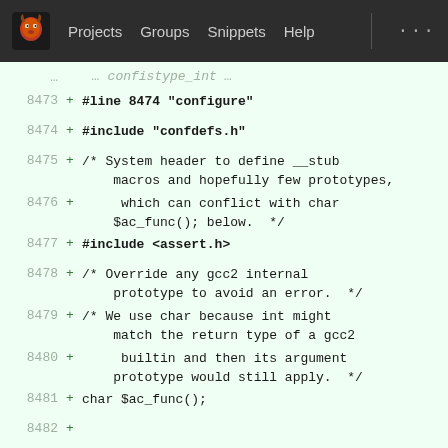GNU Projects Groups Snippets Help ...
[Figure (screenshot): GitLab code diff view showing lines 8473-8486 of a configure script with added lines (green +) containing C preprocessor directives and code]
8473 + #line 8474 "configure"
8474 + #include "confdefs.h"
8475 + /* System header to define __stub macros and hopefully few prototypes,
8476 +      which can conflict with char $ac_func(); below.  */
8477 + #include <assert.h>
8478 + /* Override any gcc2 internal prototype to avoid an error.  */
8479 + /* We use char because int might match the return type of a gcc2
8480 +      builtin and then its argument prototype would still apply.  */
8481 + char $ac_func();
8482 +
8483 + int main() {
8484 +
8485 + /* The GNU C library defines this for functions which it implements
       for functions which it implements
8486 +    to always fail with ENOSYS.